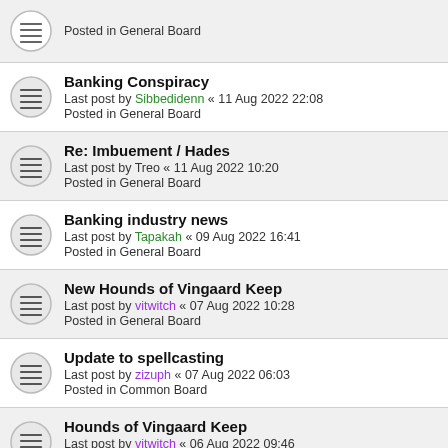Posted in General Board
Banking Conspiracy
Last post by Sibbedidenn « 11 Aug 2022 22:08
Posted in General Board
Re: Imbuement / Hades
Last post by Treo « 11 Aug 2022 10:20
Posted in General Board
Banking industry news
Last post by Tapakah « 09 Aug 2022 16:41
Posted in General Board
New Hounds of Vingaard Keep
Last post by vitwitch « 07 Aug 2022 10:28
Posted in General Board
Update to spellcasting
Last post by zizuph « 07 Aug 2022 06:03
Posted in Common Board
Hounds of Vingaard Keep
Last post by vitwitch « 06 Aug 2022 09:46
Posted in General Board
Changes to teleport (part 2)